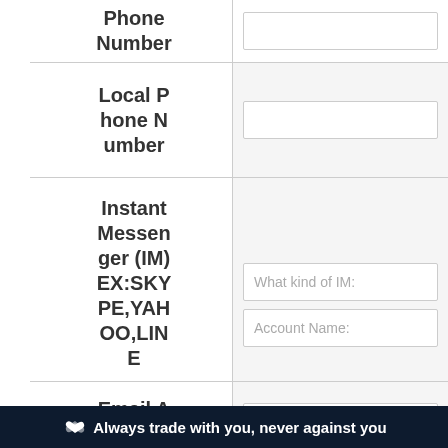| Field | Input |
| --- | --- |
| Phone Number |  |
| Local Phone Number |  |
| Instant Messenger (IM) EX:SKYPE,YAHOO,LINE | What kind of IM: | Account Name: |
| Email Address |  |
Always trade with you, never against you